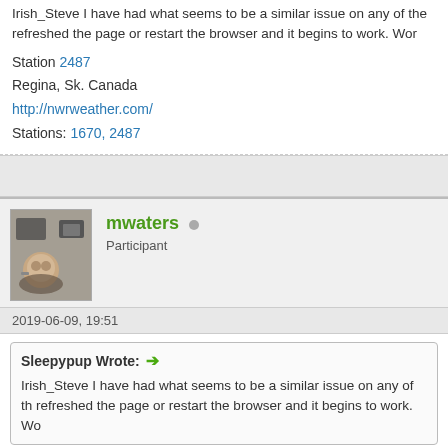Irish_Steve I have had what seems to be a similar issue on any of the refreshed the page or restart the browser and it begins to work.  Wo
Station 2487
Regina, Sk. Canada
http://nwrweather.com/
Stations: 1670, 2487
mwaters
Participant
2019-06-09, 19:51
Sleepypup Wrote: →
Irish_Steve I have had what seems to be a similar issue on any of th refreshed the page or restart the browser and it begins to work.  Wo
There's a lot to be said for clearing caches to solve issues, and not i